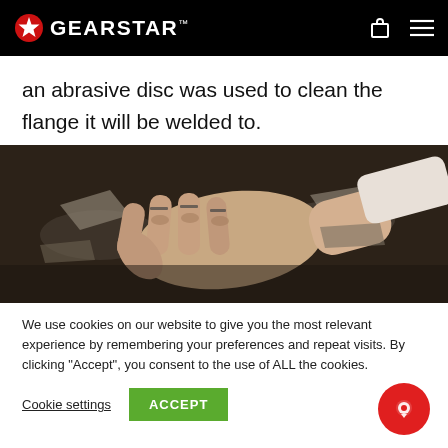GEARSTAR™
an abrasive disc was used to clean the flange it will be welded to.
[Figure (photo): A tattooed hand resting on a dark metal flange surface, showing cleaned metal with shiny areas where abrasive disc was used.]
We use cookies on our website to give you the most relevant experience by remembering your preferences and repeat visits. By clicking "Accept", you consent to the use of ALL the cookies.
Cookie settings  ACCEPT